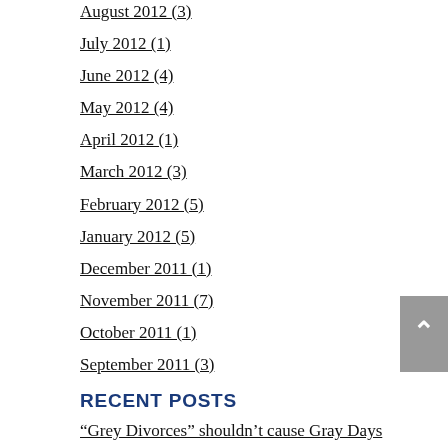August 2012 (3)
July 2012 (1)
June 2012 (4)
May 2012 (4)
April 2012 (1)
March 2012 (3)
February 2012 (5)
January 2012 (5)
December 2011 (1)
November 2011 (7)
October 2011 (1)
September 2011 (3)
RECENT POSTS
“Grey Divorces” shouldn’t cause Gray Days